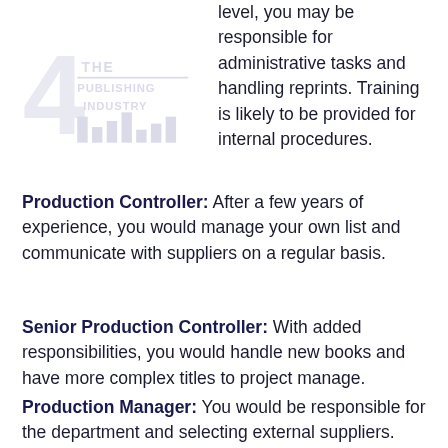level, you may be responsible for administrative tasks and handling reprints. Training is likely to be provided for internal procedures.
Production Controller: After a few years of experience, you would manage your own list and communicate with suppliers on a regular basis.
Senior Production Controller: With added responsibilities, you would handle new books and have more complex titles to project manage.
Production Manager: You would be responsible for the department and selecting external suppliers. You